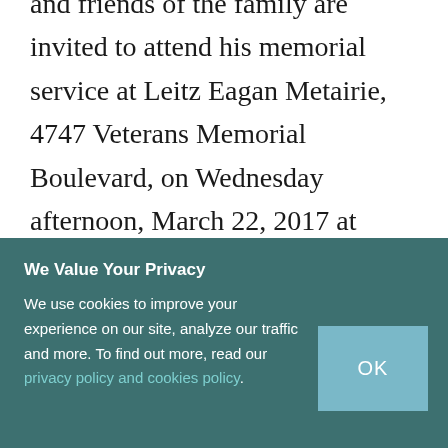and friends of the family are invited to attend his memorial service at Leitz Eagan Metairie, 4747 Veterans Memorial Boulevard, on Wednesday afternoon, March 22, 2017 at 1:00. Visitation will begin at 11:30 in the morning. Internment will be private in Garden of Memories. In lieu of flowers, contributions in his memory to Cancer Crusaders are preferred. An online guestbook is available at
We Value Your Privacy
We use cookies to improve your experience on our site, analyze our traffic and more. To find out more, read our privacy policy and cookies policy.